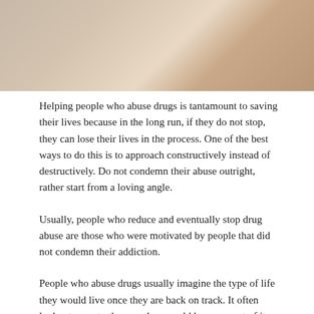[Figure (photo): Partial view of a person's arm/hand against a light background, suggesting a health or drug abuse awareness context]
Helping people who abuse drugs is tantamount to saving their lives because in the long run, if they do not stop, they can lose their lives in the process. One of the best ways to do this is to approach constructively instead of destructively. Do not condemn their abuse outright, rather start from a loving angle.
Usually, people who reduce and eventually stop drug abuse are those who were motivated by people that did not condemn their addiction.
People who abuse drugs usually imagine the type of life they would live once they are back on track. It often looks strange to them so they would have no part of it.